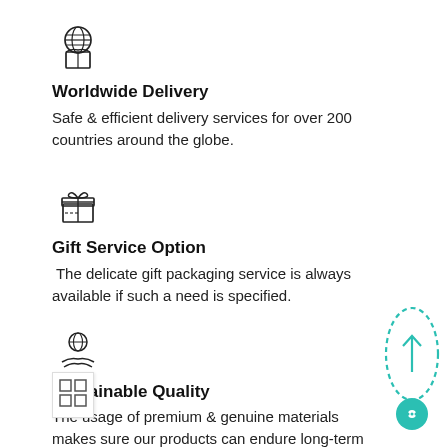[Figure (illustration): Globe with box icon for Worldwide Delivery]
Worldwide Delivery
Safe & efficient delivery services for over 200 countries around the globe.
[Figure (illustration): Gift box icon for Gift Service Option]
Gift Service Option
The delicate gift packaging service is always available if such a need is specified.
[Figure (illustration): Globe with hand/waves icon for Sustainable Quality]
Sustainable Quality
The usage of premium & genuine materials makes sure our products can endure long-term wearing and are ally friendly to the ecosystem.
[Figure (illustration): Scroll-to-top button (teal dashed oval with arrow and circle)]
[Figure (illustration): Grid/apps icon overlay at bottom left]